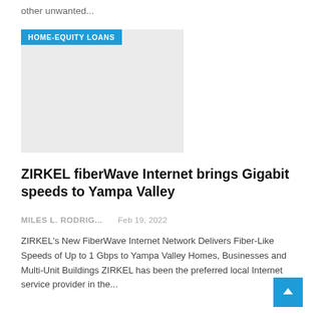other unwanted...
[Figure (other): Home-equity loans advertisement image placeholder with label HOME-EQUITY LOANS]
ZIRKEL fiberWave Internet brings Gigabit speeds to Yampa Valley
MILES L. RODRIG...    Feb 19, 2022
ZIRKEL's New FiberWave Internet Network Delivers Fiber-Like Speeds of Up to 1 Gbps to Yampa Valley Homes, Businesses and Multi-Unit Buildings ZIRKEL has been the preferred local Internet service provider in the...
[Figure (photo): Credit cards article image with glowing padlock on dark background, labeled CREDIT CARDS]